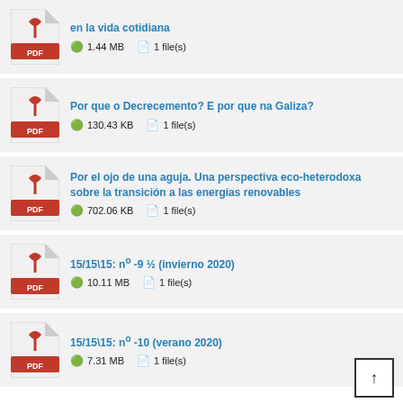en la vida cotidiana — 1.44 MB, 1 file(s)
Por que o Decrecemento? E por que na Galiza? — 130.43 KB, 1 file(s)
Por el ojo de una aguja. Una perspectiva eco-heterodoxa sobre la transición a las energías renovables — 702.06 KB, 1 file(s)
15/15\15: nº -9 ½ (invierno 2020) — 10.11 MB, 1 file(s)
15/15\15: nº -10 (verano 2020) — 7.31 MB, 1 file(s)